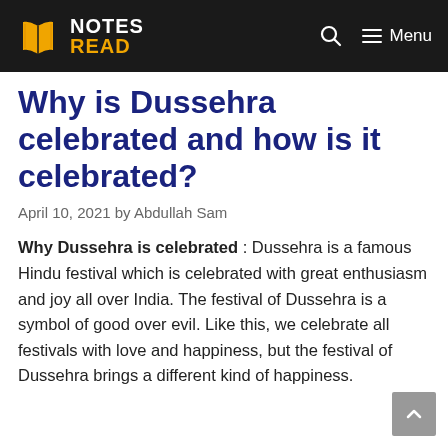NOTES READ
Why is Dussehra celebrated and how is it celebrated?
April 10, 2021 by Abdullah Sam
Why Dussehra is celebrated : Dussehra is a famous Hindu festival which is celebrated with great enthusiasm and joy all over India. The festival of Dussehra is a symbol of good over evil. Like this, we celebrate all festivals with love and happiness, but the festival of Dussehra brings a different kind of happiness.